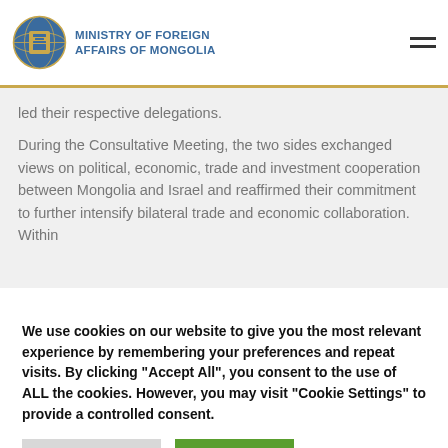MINISTRY OF FOREIGN AFFAIRS OF MONGOLIA
Secretary of the Ministry of Foreign Affairs of Mongolia Mr. N. Ankhbayar and Deputy Director-General for Asia and the Pacific of the Ministry of Foreign Affairs of Israel Mr. Rafael Harpaz led their respective delegations.
During the Consultative Meeting, the two sides exchanged views on political, economic, trade and investment cooperation between Mongolia and Israel and reaffirmed their commitment to further intensify bilateral trade and economic collaboration. Within
We use cookies on our website to give you the most relevant experience by remembering your preferences and repeat visits. By clicking "Accept All", you consent to the use of ALL the cookies. However, you may visit "Cookie Settings" to provide a controlled consent.
Cookie Settings
Accept All